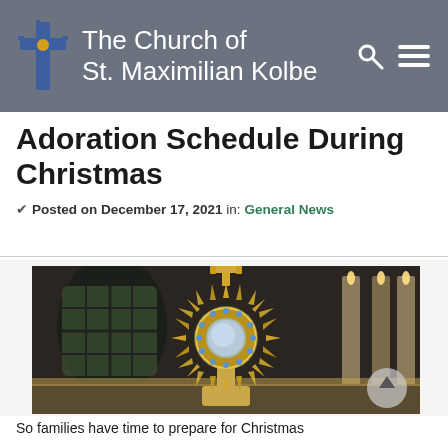The Church of St. Maximilian Kolbe
Adoration Schedule During Christmas
✔ Posted on December 17, 2021 in: General News
[Figure (photo): A golden monstrance with a cross on top and a circular center piece with blue gems, set in an ornate church interior with stained glass windows and candles]
So families have time to prepare for Christmas